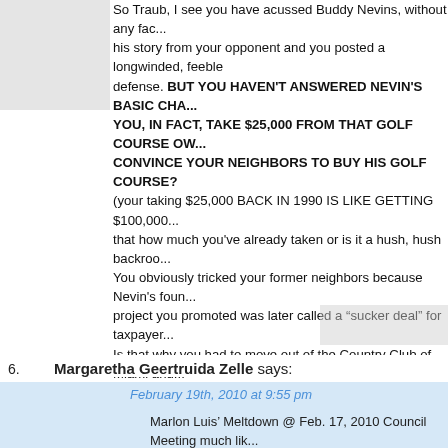So Traub, I see you have acussed Buddy Nevins, without any fac... his story from your opponent and you posted a longwinded, feeble defense. BUT YOU HAVEN'T ANSWERED NEVIN'S BASIC CHA... YOU, IN FACT, TAKE $25,000 FROM THAT GOLF COURSE OW... CONVINCE YOUR NEIGHBORS TO BUY HIS GOLF COURSE? (your taking $25,000 BACK IN 1990 IS LIKE GETTING $100,000... that how much you've already taken or is it a hush, hush backroo... You obviously tricked your former neighbors because Nevin's foun... project you promoted was later called a "sucker deal" for taxpayer... Is that why you had to move out of the Country Club of Miami and... Davie? Fool your neighbors once, shame on them. Fool them twice, SAM...
6. Margaretha Geertruida Zelle says:
February 19th, 2010 at 9:55 pm
Marlon Luis' Meltdown @ Feb. 17, 2010 Council Meeting much lik... "Boss" Austin Forman-The Donkey Farmer...What a...Donkey!... http://blogs.browardpalmbeach.com/pulp/2009/10/donkey_farmer... n_fi.php Donkey Farmer Austin Forman Files Suit Against Commissioner, ... By Bob Norman Mon., Oct. 5 2009 @ 7:52AM ..."Two of the articles linked by Hennessey were columns of mine... Forman's involvement in an inside deal at the rampantly corrupt N... Hospital District, which was practically founded by Forman's fathe... You can read the columns here and here. Obviously I stand by ev...